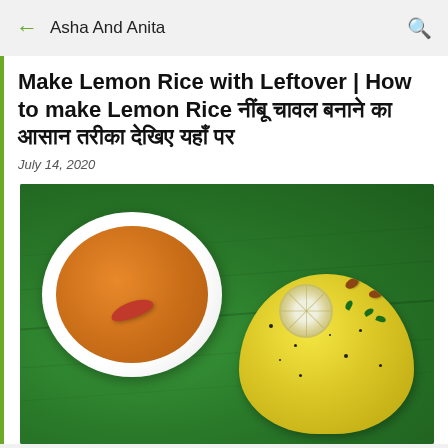Asha And Anita
Make Lemon Rice with Leftover | How to make Lemon Rice नींबू चावल बनाने का आसान तरीका देखिए यहाँ पर
July 14, 2020
[Figure (photo): A plate of yellow lemon rice served on a banana leaf with a white bowl of orange curry/sambar containing a red chili. The lemon rice is garnished with a lemon slice, peanuts, and curry leaves.]